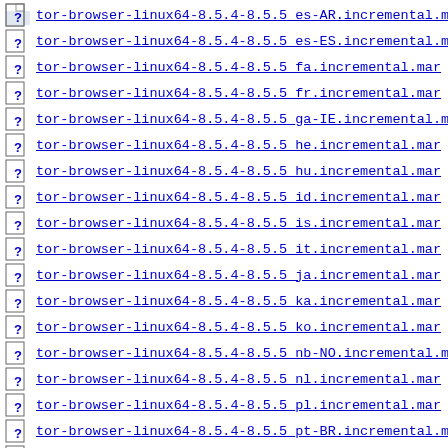tor-browser-linux64-8.5.4-8.5.5_es-AR.incremental.mar
tor-browser-linux64-8.5.4-8.5.5_es-ES.incremental.mar
tor-browser-linux64-8.5.4-8.5.5_fa.incremental.mar
tor-browser-linux64-8.5.4-8.5.5_fr.incremental.mar
tor-browser-linux64-8.5.4-8.5.5_ga-IE.incremental.mar
tor-browser-linux64-8.5.4-8.5.5_he.incremental.mar
tor-browser-linux64-8.5.4-8.5.5_hu.incremental.mar
tor-browser-linux64-8.5.4-8.5.5_id.incremental.mar
tor-browser-linux64-8.5.4-8.5.5_is.incremental.mar
tor-browser-linux64-8.5.4-8.5.5_it.incremental.mar
tor-browser-linux64-8.5.4-8.5.5_ja.incremental.mar
tor-browser-linux64-8.5.4-8.5.5_ka.incremental.mar
tor-browser-linux64-8.5.4-8.5.5_ko.incremental.mar
tor-browser-linux64-8.5.4-8.5.5_nb-NO.incremental.mar
tor-browser-linux64-8.5.4-8.5.5_nl.incremental.mar
tor-browser-linux64-8.5.4-8.5.5_pl.incremental.mar
tor-browser-linux64-8.5.4-8.5.5_pt-BR.incremental.mar
tor-browser-linux64-8.5.4-8.5.5_pt-...incremental.mar